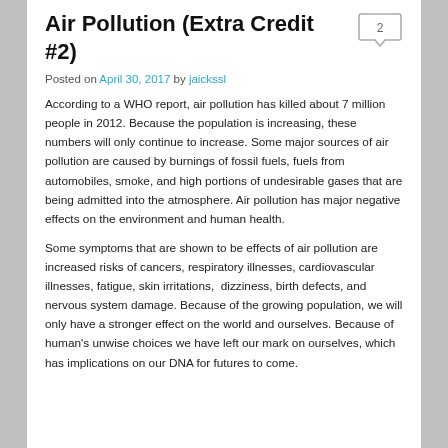Air Pollution (Extra Credit #2)
Posted on April 30, 2017 by jaickssl
According to a WHO report, air pollution has killed about 7 million people in 2012. Because the population is increasing, these numbers will only continue to increase. Some major sources of air pollution are caused by burnings of fossil fuels, fuels from automobiles, smoke, and high portions of undesirable gases that are being admitted into the atmosphere. Air pollution has major negative effects on the environment and human health.
Some symptoms that are shown to be effects of air pollution are increased risks of cancers, respiratory illnesses, cardiovascular illnesses, fatigue, skin irritations,  dizziness, birth defects, and nervous system damage. Because of the growing population, we will only have a stronger effect on the world and ourselves. Because of human's unwise choices we have left our mark on ourselves, which has implications on our DNA for futures to come.